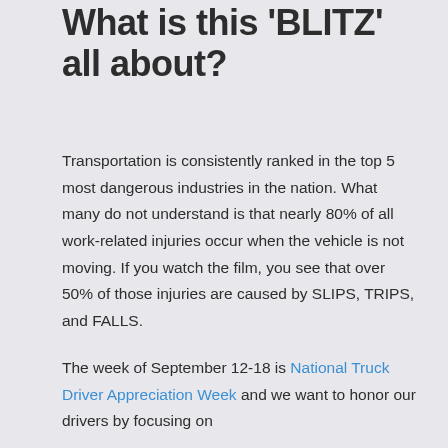What is this 'BLITZ' all about?
Transportation is consistently ranked in the top 5 most dangerous industries in the nation. What many do not understand is that nearly 80% of all work-related injuries occur when the vehicle is not moving. If you watch the film, you see that over 50% of those injuries are caused by SLIPS, TRIPS, and FALLS.
The week of September 12-18 is National Truck Driver Appreciation Week and we want to honor our drivers by focusing on the safety of our drivers.